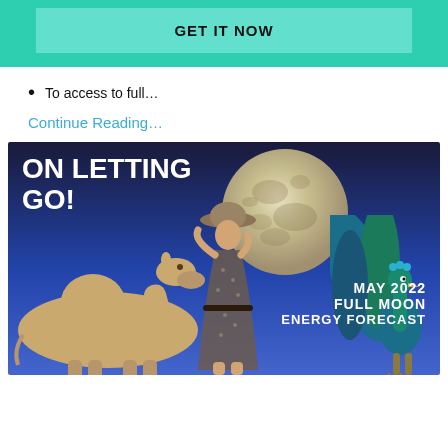GET IT NOW
To access to full…
Continue Reading…
[Figure (illustration): Full moon energy forecast promotional image showing the text 'ON LETTING GO!' on a dark blue night sky background, with a large full moon, a camel on the left, a woman in a floral dress in the center, and a peacock on the right. Text reads MAY 2022 FULL MOON ENERGY FORECAST.]